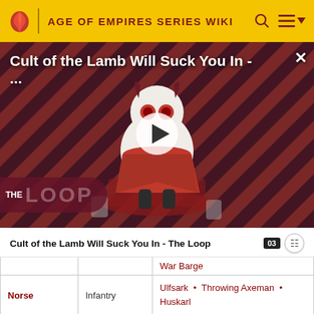AGE OF EMPIRES SERIES WIKI
[Figure (screenshot): Video thumbnail for 'Cult of the Lamb Will Suck You In - ...' showing a cartoon lamb character on a red striped background with THE LOOP branding and a play button overlay]
Cult of the Lamb Will Suck You In - The Loop
|  |  | War Barge |
| --- | --- | --- |
| Norse | Infantry | Ulfsark • Throwing Axeman • Huskarl |